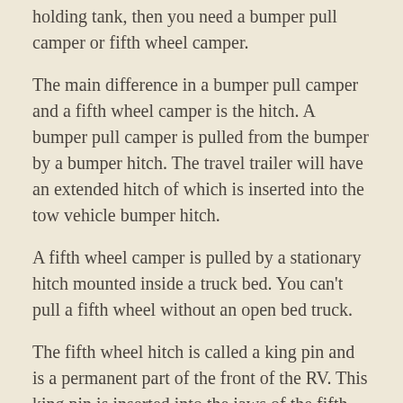holding tank, then you need a bumper pull camper or fifth wheel camper.
The main difference in a bumper pull camper and a fifth wheel camper is the hitch. A bumper pull camper is pulled from the bumper by a bumper hitch. The travel trailer will have an extended hitch of which is inserted into the tow vehicle bumper hitch.
A fifth wheel camper is pulled by a stationary hitch mounted inside a truck bed. You can't pull a fifth wheel without an open bed truck.
The fifth wheel hitch is called a king pin and is a permanent part of the front of the RV. This king pin is inserted into the jaws of the fifth wheel hitch that is mounted in the bed of the truck and locked into position.